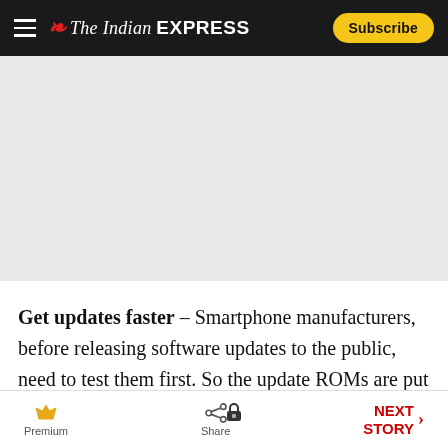The Indian Express — Subscribe
[Figure (other): Advertisement placeholder area (gray background)]
Get updates faster – Smartphone manufacturers, before releasing software updates to the public, need to test them first. So the update ROMs are put up on their official websites. These update ROMs
Premium | Share | NEXT STORY >